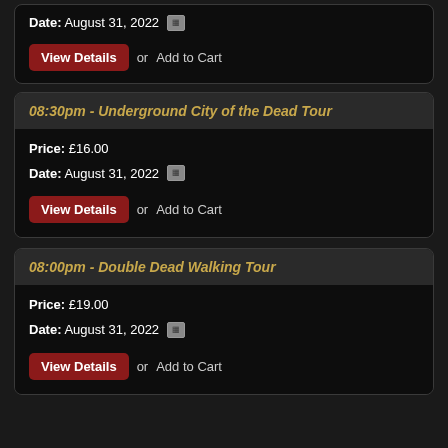Date: August 31, 2022
View Details or Add to Cart
08:30pm - Underground City of the Dead Tour
Price: £16.00
Date: August 31, 2022
View Details or Add to Cart
08:00pm - Double Dead Walking Tour
Price: £19.00
Date: August 31, 2022
View Details or Add to Cart